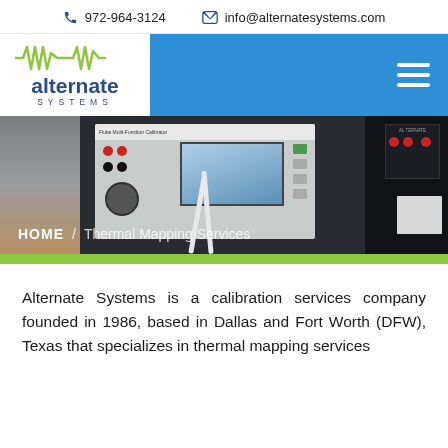📞 972-964-3124   ✉ info@alternatesystems.com
[Figure (logo): Alternate Systems logo with green waveform and blue text on white background, inside blue navigation bar with hamburger menu icon]
[Figure (photo): Hero banner photo showing calibration equipment - a Fluke multi-function calibrator device with screen and control panel, cables, and dark instrument rack in background]
HOME / Thermal Mapping Services
Alternate Systems is a calibration services company founded in 1986, based in Dallas and Fort Worth (DFW), Texas that specializes in thermal mapping services